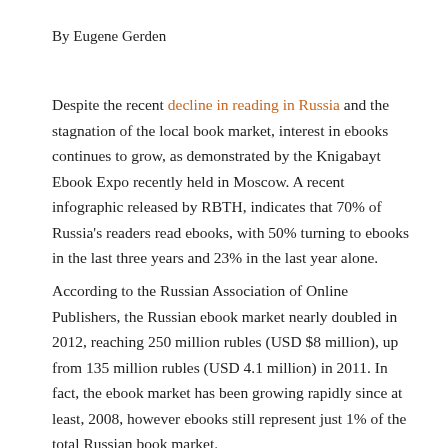By Eugene Gerden
Despite the recent decline in reading in Russia and the stagnation of the local book market, interest in ebooks continues to grow, as demonstrated by the Knigabayt Ebook Expo recently held in Moscow. A recent infographic released by RBTH, indicates that 70% of Russia's readers read ebooks, with 50% turning to ebooks in the last three years and 23% in the last year alone.
According to the Russian Association of Online Publishers, the Russian ebook market nearly doubled in 2012, reaching 250 million rubles (USD $8 million), up from 135 million rubles (USD 4.1 million) in 2011. In fact, the ebook market has been growing rapidly since at least, 2008, however ebooks still represent just 1% of the total Russian book market.